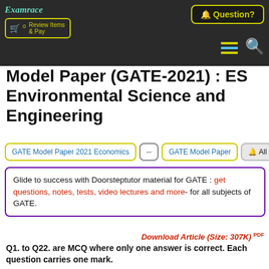Examrace
Model Paper (GATE-2021) : ES Environmental Science and Engineering
GATE Model Paper 2021 Economics  ↔  GATE Model Paper  All
Glide to success with Doorsteptutor material for GATE : get questions, notes, tests, video lectures and more- for all subjects of GATE.
Download Article (Size: 307K) PDF
Q1. to Q22. are MCQ where only one answer is correct. Each question carries one mark.
Q. 1 The relative error in the calculation of the volume of a sphere is nearly ________ times the relative error in the measurement of the radius.